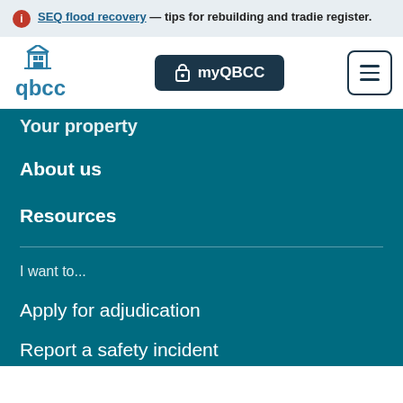SEQ flood recovery — tips for rebuilding and tradie register.
[Figure (logo): QBCC logo with building icon and text 'qbcc']
myQBCC
Your property
About us
Resources
I want to...
Apply for adjudication
Report a safety incident